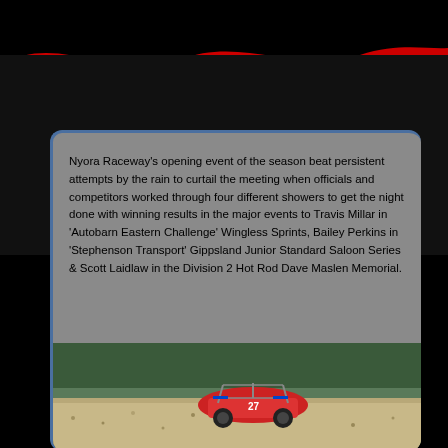Navigation menu
Nyora Raceway’s opening event of the season beat persistent attempts by the rain to curtail the meeting when officials and competitors worked through four different showers to get the night done with winning results in the major events to Travis Millar in ‘Autobarn Eastern Challenge’ Wingless Sprints, Bailey Perkins in ‘Stephenson Transport’ Gippsland Junior Standard Saloon Series & Scott Laidlaw in the Division 2 Hot Rod Dave Maslen Memorial.
[Figure (photo): Photo of a race car (wingless sprint car) on a dirt track with gravel and trees in the background]